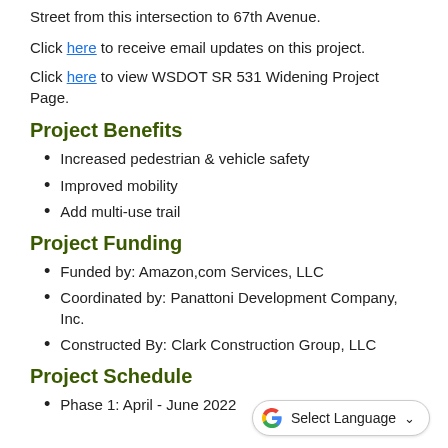Street from this intersection to 67th Avenue.
Click here to receive email updates on this project.
Click here to view WSDOT SR 531 Widening Project Page.
Project Benefits
Increased pedestrian & vehicle safety
Improved mobility
Add multi-use trail
Project Funding
Funded by: Amazon,com Services, LLC
Coordinated by: Panattoni Development Company, Inc.
Constructed By: Clark Construction Group, LLC
Project Schedule
Phase 1: April - June 2022